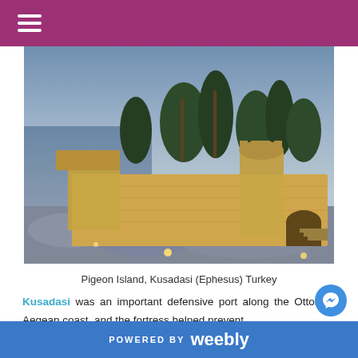≡
[Figure (photo): Illuminated stone fortress and castle walls on Pigeon Island at dusk, with palm trees and the Aegean Sea visible in the background. The fortress is lit with warm golden lights against a blue twilight sky.]
Pigeon Island, Kusadasi (Ephesus) Turkey
Kusadasi was an important defensive port along the Ottoman Aegean coast, and the fortress helped prevent
POWERED BY weebly